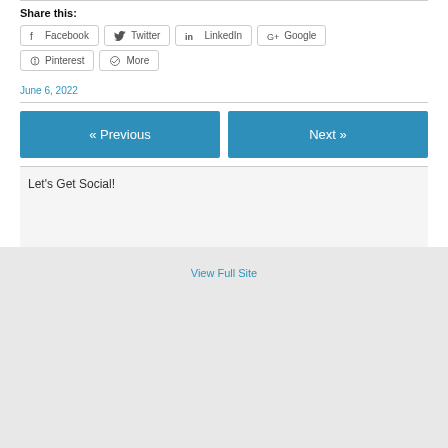Share this:
Facebook  Twitter  LinkedIn  Google  Pinterest  More
June 6, 2022
« Previous
Next »
Let's Get Social!
View Full Site